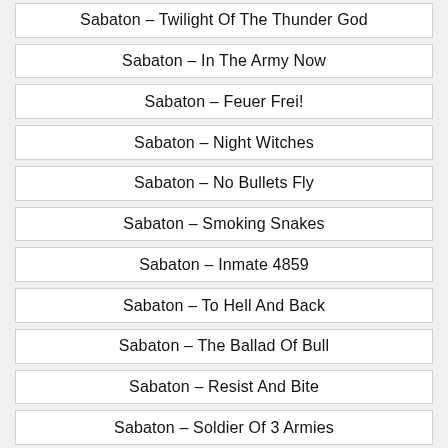Sabaton – Twilight Of The Thunder God
Sabaton – In The Army Now
Sabaton – Feuer Frei!
Sabaton – Night Witches
Sabaton – No Bullets Fly
Sabaton – Smoking Snakes
Sabaton – Inmate 4859
Sabaton – To Hell And Back
Sabaton – The Ballad Of Bull
Sabaton – Resist And Bite
Sabaton – Soldier Of 3 Armies